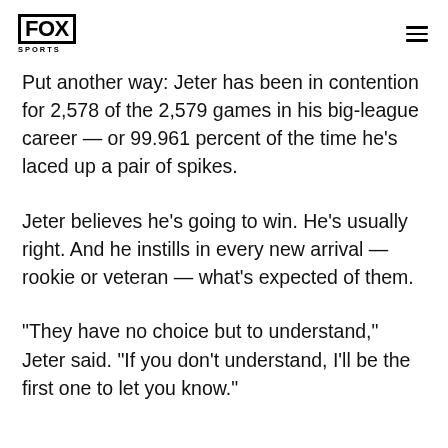FOX SPORTS
Put another way: Jeter has been in contention for 2,578 of the 2,579 games in his big-league career — or 99.961 percent of the time he's laced up a pair of spikes.
Jeter believes he's going to win. He's usually right. And he instills in every new arrival — rookie or veteran — what's expected of them.
“They have no choice but to understand,” Jeter said. “If you don't understand, I'll be the first one to let you know.”